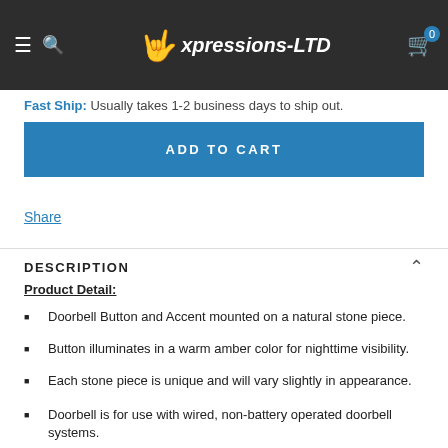Expressions-LTD (navigation header with logo, search, cart)
Fast Ship: Usually takes 1-2 business days to ship out.
ADD TO CART
Share
DESCRIPTION
Product Detail:
Doorbell Button and Accent mounted on a natural stone piece.
Button illuminates in a warm amber color for nighttime visibility.
Each stone piece is unique and will vary slightly in appearance.
Doorbell is for use with wired, non-battery operated doorbell systems.